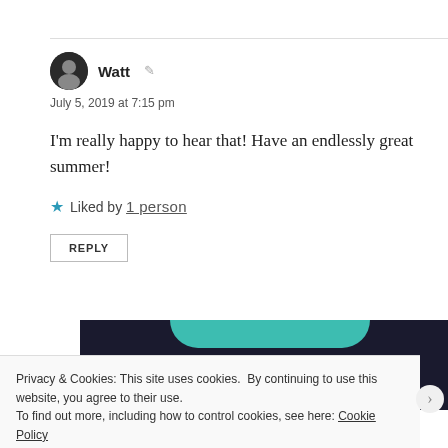Watt
July 5, 2019 at 7:15 pm
I'm really happy to hear that! Have an endlessly great summer!
Liked by 1 person
REPLY
[Figure (illustration): Dark banner with teal curved shape at top]
Privacy & Cookies: This site uses cookies. By continuing to use this website, you agree to their use. To find out more, including how to control cookies, see here: Cookie Policy
Close and accept